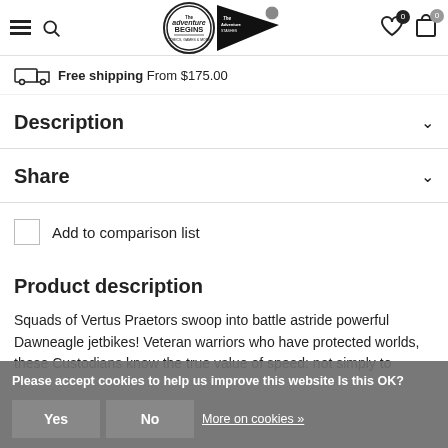The Adventure Begins / The Adventure Stashes — Navigation bar with hamburger menu, search, logo, wishlist (0), cart (0)
Free shipping From $175.00
Description
Share
Add to comparison list
Product description
Squads of Vertus Praetors swoop into battle astride powerful Dawneagle jetbikes! Veteran warriors who have protected worlds, these Custodians know the true value of speed: not simply to
Please accept cookies to help us improve this website Is this OK?
Yes
No
More on cookies »